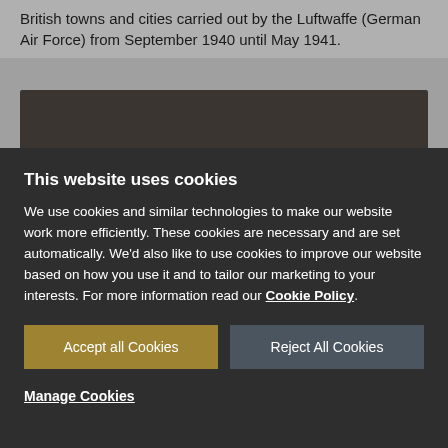British towns and cities carried out by the Luftwaffe (German Air Force) from September 1940 until May 1941.
[Figure (photo): A dark historical photograph, partially visible behind a cookie consent overlay]
This website uses cookies
We use cookies and similar technologies to make our website work more efficiently. These cookies are necessary and are set automatically. We'd also like to use cookies to improve our website based on how you use it and to tailor our marketing to your interests. For more information read our Cookie Policy.
Accept all Cookies
Reject All Cookies
Manage Cookies